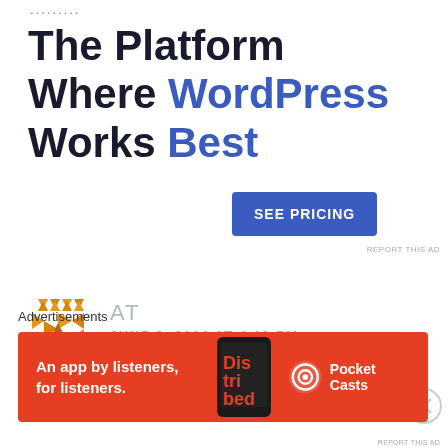......
The Platform Where WordPress Works Best
SEE PRICING
REPORT THIS AD
[Figure (logo): Orange geometric star/flower pattern logo]
AT
JUNE 3, 2014 AT 4:19 PM
Any news regarding Moto G
[Figure (other): Close/X button circle]
Advertisements
[Figure (other): Pocket Casts ad banner: An app by listeners, for listeners. Red background with phone graphic and Pocket Casts logo]
REPORT THIS AD